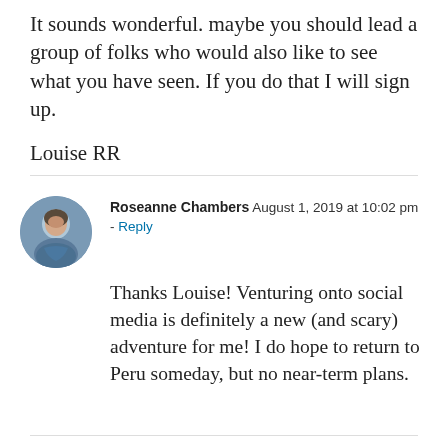It sounds wonderful. maybe you should lead a group of folks who would also like to see what you have seen. If you do that I will sign up.
Louise RR
Roseanne Chambers  August 1, 2019 at 10:02 pm - Reply
Thanks Louise! Venturing onto social media is definitely a new (and scary) adventure for me! I do hope to return to Peru someday, but no near-term plans.